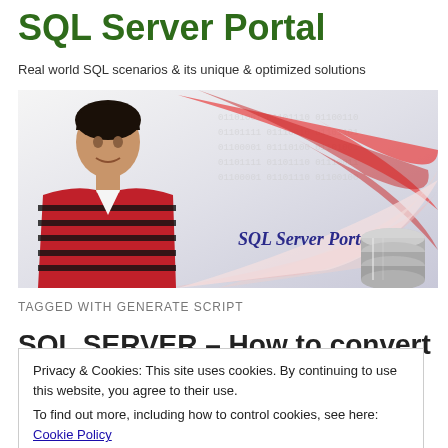SQL Server Portal
Real world SQL scenarios & its unique & optimized solutions
[Figure (photo): SQL Server Portal banner with a person in a red and black striped shirt on the left, decorative red swirling lines, binary code pattern, 'SQL Server Portal' text, and a metallic database cylinder icon on the right]
TAGGED WITH GENERATE SCRIPT
SQL SERVER – How to convert
Privacy & Cookies: This site uses cookies. By continuing to use this website, you agree to their use.
To find out more, including how to control cookies, see here: Cookie Policy
Close and accept
statement is a very frequent activity that a DBA/Developer